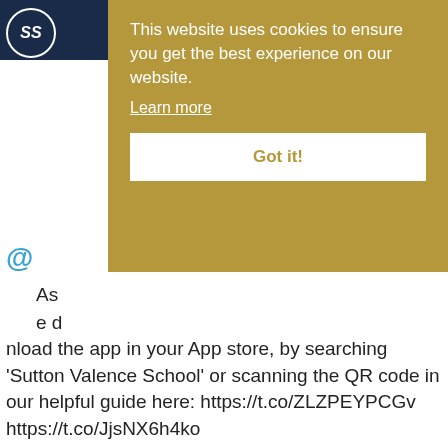[Figure (screenshot): Website header with school logo (SS) on dark navy background]
This website uses cookies to ensure you get the best experience on our website.
Learn more
Got it!
nload the app in your App store, by searching 'Sutton Valence School' or scanning the QR code in our helpful guide here: https://t.co/ZLZPEYPCGv https://t.co/JjsNX6h4ko
[Figure (screenshot): App promotion image showing smartphone with 'Back to School preparation starts here' and school logo, surrounded by app icons including Schoology, Twitter, SVS Foundation Connect, and Famly]